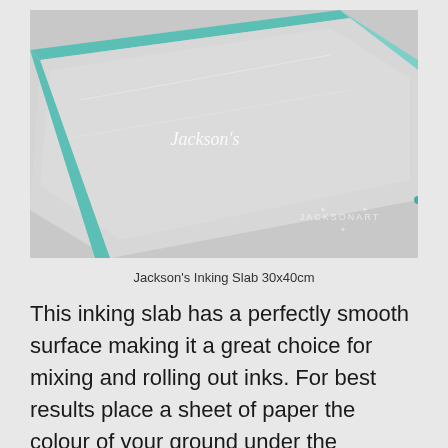[Figure (photo): Close-up photograph of a Jackson's Inking Slab showing the corner of a glass slab with light teal/green edges on a grey background. The Jackson's brand name is visible in white script on the glass surface. A JACKSONART watermark appears in the lower right.]
Jackson's Inking Slab 30x40cm
This inking slab has a perfectly smooth surface making it a great choice for mixing and rolling out inks. For best results place a sheet of paper the colour of your ground under the